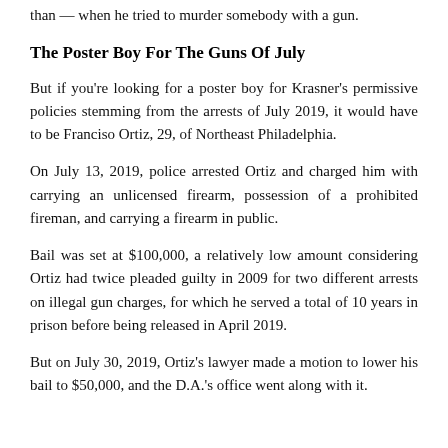than — when he tried to murder somebody with a gun.
The Poster Boy For The Guns Of July
But if you're looking for a poster boy for Krasner's permissive policies stemming from the arrests of July 2019, it would have to be Franciso Ortiz, 29, of Northeast Philadelphia.
On July 13, 2019, police arrested Ortiz and charged him with carrying an unlicensed firearm, possession of a prohibited fireman, and carrying a firearm in public.
Bail was set at $100,000, a relatively low amount considering Ortiz had twice pleaded guilty in 2009 for two different arrests on illegal gun charges, for which he served a total of 10 years in prison before being released in April 2019.
But on July 30, 2019, Ortiz's lawyer made a motion to lower his bail to $50,000, and the D.A.'s office went along with it.